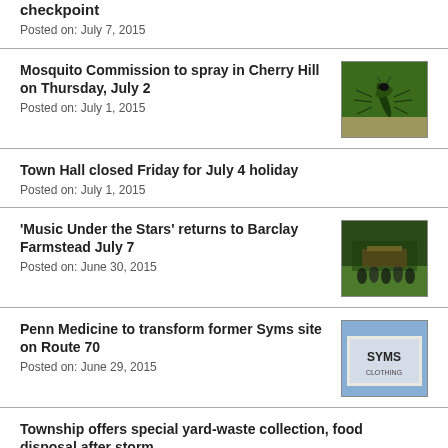checkpoint
Posted on: July 7, 2015
Mosquito Commission to spray in Cherry Hill on Thursday, July 2
Posted on: July 1, 2015
[Figure (photo): Close-up photo of a mosquito on skin]
Town Hall closed Friday for July 4 holiday
Posted on: July 1, 2015
'Music Under the Stars' returns to Barclay Farmstead July 7
Posted on: June 30, 2015
[Figure (photo): Outdoor crowd at music event]
Penn Medicine to transform former Syms site on Route 70
Posted on: June 29, 2015
[Figure (photo): SYMS Clothing store sign]
Township offers special yard-waste collection, food disposal after storm
Posted on: June 25, 2015